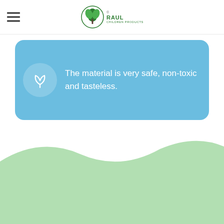RAUL CHILDREN PRODUCTS
The material is very safe, non-toxic and tasteless.
[Figure (illustration): Light green wave / hill shape filling the bottom portion of the page]